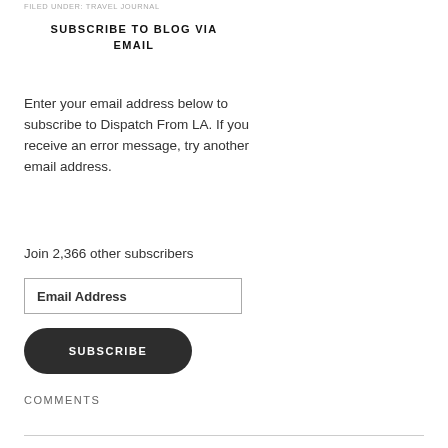FILED UNDER: TRAVEL JOURNAL
SUBSCRIBE TO BLOG VIA EMAIL
Enter your email address below to subscribe to Dispatch From LA. If you receive an error message, try another email address.
Join 2,366 other subscribers
Email Address
SUBSCRIBE
COMMENTS